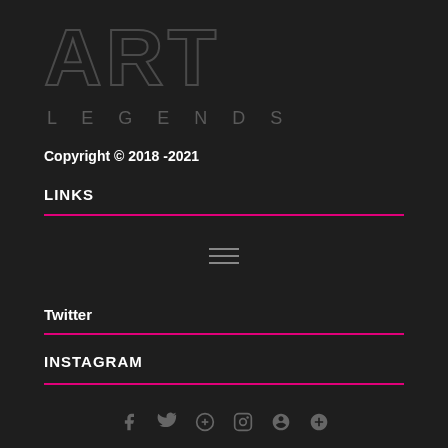ART
LEGENDS
Copyright © 2018 -2021
LINKS
[Figure (other): Hamburger menu icon with three horizontal lines]
Twitter
INSTAGRAM
[Figure (other): Row of social media icons: Facebook, Twitter, Threads/Snapchat, Instagram, Pinterest, Google+]